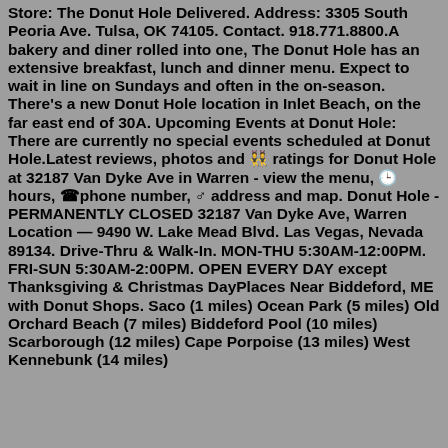Store: The Donut Hole Delivered. Address: 3305 South Peoria Ave. Tulsa, OK 74105. Contact. 918.771.8800.A bakery and diner rolled into one, The Donut Hole has an extensive breakfast, lunch and dinner menu. Expect to wait in line on Sundays and often in the on-season. There's a new Donut Hole location in Inlet Beach, on the far east end of 30A. Upcoming Events at Donut Hole: There are currently no special events scheduled at Donut Hole.Latest reviews, photos and ratings for Donut Hole at 32187 Van Dyke Ave in Warren - view the menu, hours, phone number, address and map. Donut Hole - PERMANENTLY CLOSED 32187 Van Dyke Ave, Warren Location — 9490 W. Lake Mead Blvd. Las Vegas, Nevada 89134. Drive-Thru & Walk-In. MON-THU 5:30AM-12:00PM. FRI-SUN 5:30AM-2:00PM. OPEN EVERY DAY except Thanksgiving & Christmas DayPlaces Near Biddeford, ME with Donut Shops. Saco (1 miles) Ocean Park (5 miles) Old Orchard Beach (7 miles) Biddeford Pool (10 miles) Scarborough (12 miles) Cape Porpoise (13 miles) West Kennebunk (14 miles)